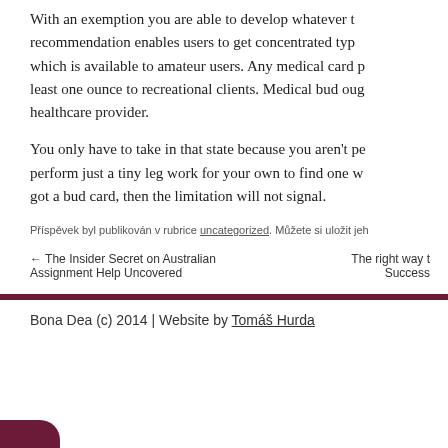With an exemption you are able to develop whatever the recommendation enables users to get concentrated type which is available to amateur users. Any medical card p least one ounce to recreational clients. Medical bud oug healthcare provider.
You only have to take in that state because you aren't pe perform just a tiny leg work for your own to find one w got a bud card, then the limitation will not signal.
Příspěvek byl publikován v rubrice uncategorized. Můžete si uložit jeh
← The Insider Secret on Australian Assignment Help Uncovered    The right way t Success
Bona Dea (c) 2014 | Website by Tomáš Hurda